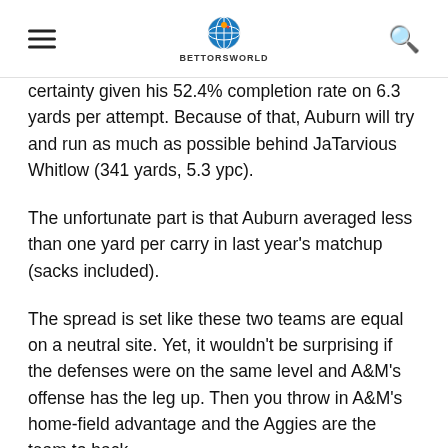BettorsWorld [logo]
certainty given his 52.4% completion rate on 6.3 yards per attempt. Because of that, Auburn will try and run as much as possible behind JaTarvious Whitlow (341 yards, 5.3 ypc).
The unfortunate part is that Auburn averaged less than one yard per carry in last year's matchup (sacks included).
The spread is set like these two teams are equal on a neutral site. Yet, it wouldn't be surprising if the defenses were on the same level and A&M's offense has the leg up. Then you throw in A&M's home-field advantage and the Aggies are the team to back.
However, the road team is 6-1 ATS in the last seven meetings with the over 5-2 in those games. Both teams have covered their last four games.